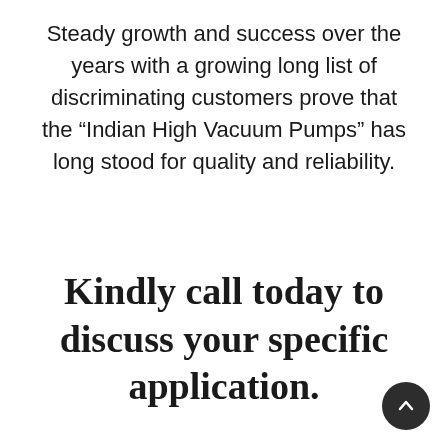Steady growth and success over the years with a growing long list of discriminating customers prove that the “Indian High Vacuum Pumps” has long stood for quality and reliability.
Kindly call today to discuss your specific application.